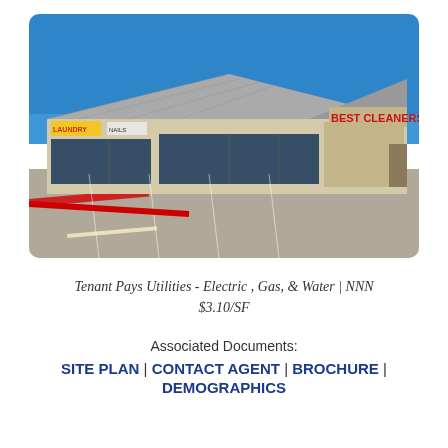[Figure (photo): Exterior photo of a retail strip mall with a Best Cleaners sign on a sunny day, large parking lot in front, metal roof, brick construction with storefront windows.]
Tenant Pays Utilities - Electric , Gas, & Water | NNN
$3.10/SF
Associated Documents:
SITE PLAN | CONTACT AGENT | BROCHURE | DEMOGRAPHICS